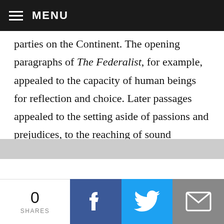MENU
parties on the Continent. The opening paragraphs of The Federalist, for example, appealed to the capacity of human beings for reflection and choice. Later passages appealed to the setting aside of passions and prejudices, to the reaching of sound judgments for the sake of the public interest and the general welfare, and to the importance of reasoned argument. The classics of Greece and Rome were frequently appealed to by the Framers, both to exhibit useful modes of reasoning and to provide examples of human depravity and nobility. To those blessed with a
0 SHARES